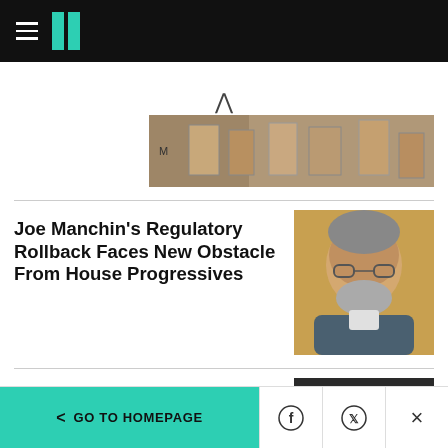HuffPost navigation bar with hamburger menu and logo
[Figure (photo): Partial view of a news article image showing wooden boxes or crates with text]
Joe Manchin’s Regulatory Rollback Faces New Obstacle From House Progressives
[Figure (photo): Portrait photo of an older man with gray hair and beard wearing glasses and a dark vest]
Joe Biden Goes 'Dark
[Figure (photo): Partial photo of a person's head, dark hair visible from above]
< GO TO HOMEPAGE | Facebook share | Twitter share | Close